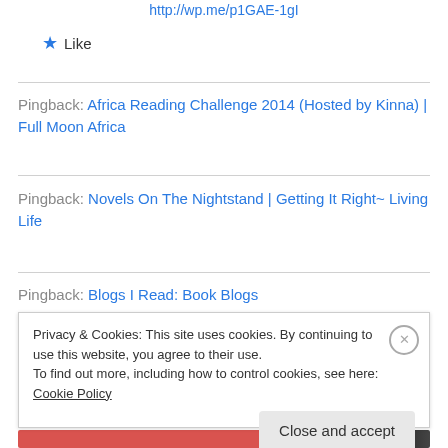http://wp.me/p1GAE-1gI
★ Like
Pingback: Africa Reading Challenge 2014 (Hosted by Kinna) | Full Moon Africa
Pingback: Novels On The Nightstand | Getting It Right~ Living Life
Pingback: Blogs I Read: Book Blogs
Privacy & Cookies: This site uses cookies. By continuing to use this website, you agree to their use.
To find out more, including how to control cookies, see here: Cookie Policy
Close and accept